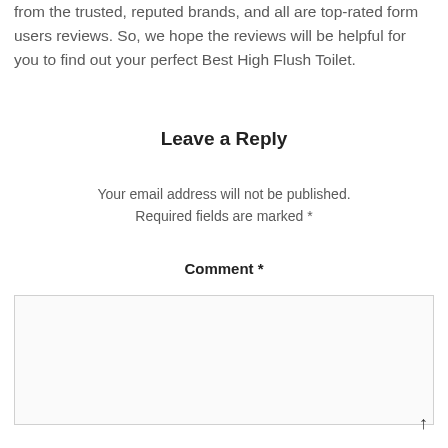from the trusted, reputed brands, and all are top-rated form users reviews. So, we hope the reviews will be helpful for you to find out your perfect Best High Flush Toilet.
Leave a Reply
Your email address will not be published. Required fields are marked *
Comment *